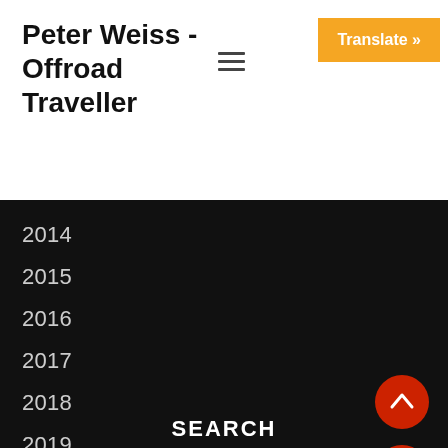Peter Weiss - Offroad Traveller
Translate »
2014
2015
2016
2017
2018
2019
2020
SEARCH